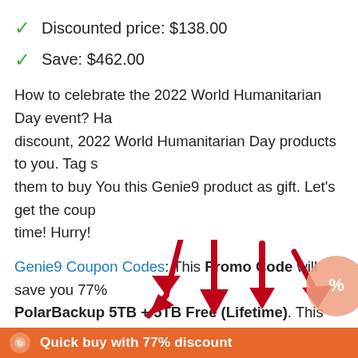Discounted price: $138.00
Save: $462.00
How to celebrate the 2022 World Humanitarian Day event? Ha discount, 2022 World Humanitarian Day products to you. Tag s them to buy You this Genie9 product as gift. Let's get the coup time! Hurry!
Genie9 Coupon Codes: This Promo Code will save you 77% PolarBackup 5TB + 5TB Free (Lifetime). This staggering offe expire on August 30. Please use the coupon code before the e save $462.00.
[Figure (illustration): Three large red downward-pointing arrows pointing down, with a peach/salmon circular badge on the right containing a percentage symbol]
Quick buy with 77% discount